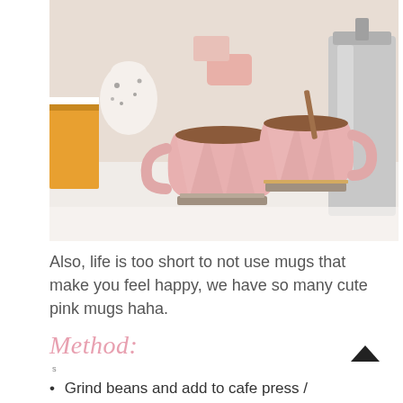[Figure (photo): Two pink geometric faceted mugs filled with hot chocolate or coffee, sitting on decorative coasters on a white marble surface. Background shows books, a speckled vase, a gold tray, and a silver French press.]
Also, life is too short to not use mugs that make you feel happy, we have so many cute pink mugs haha.
Method:
Grind beans and add to cafe press /